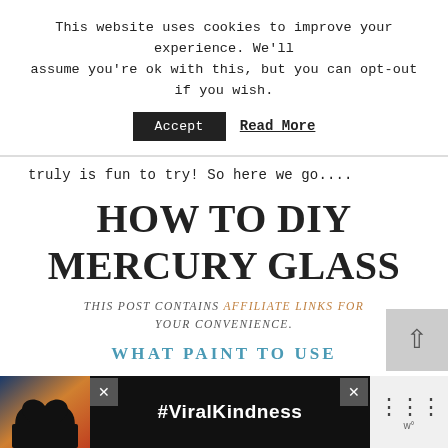This website uses cookies to improve your experience. We'll assume you're ok with this, but you can opt-out if you wish.
Accept   Read More
truly is fun to try! So here we go....
HOW TO DIY MERCURY GLASS
THIS POST CONTAINS AFFILIATE LINKS FOR YOUR CONVENIENCE.
WHAT PAINT TO USE
[Figure (photo): Advertisement banner showing silhouette of hands forming a heart shape against a colorful sky, with text #ViralKindness and a close button]